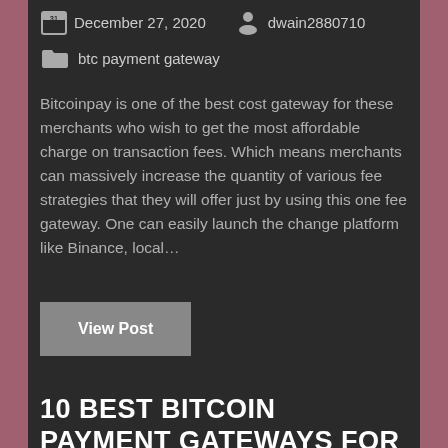December 27, 2020   dwain2880710
btc payment gateway
Bitcoinpay is one of the best cost gateway for these merchants who wish to get the most affordable charge on transaction fees. Which means merchants can massively increase the quantity of various fee strategies that they will offer just by using this one fee gateway. One can easily launch the change platform like Binance, local…
View Post
10 BEST BITCOIN PAYMENT GATEWAYS FOR 2020 – DEVTEAM.SPACE (2)